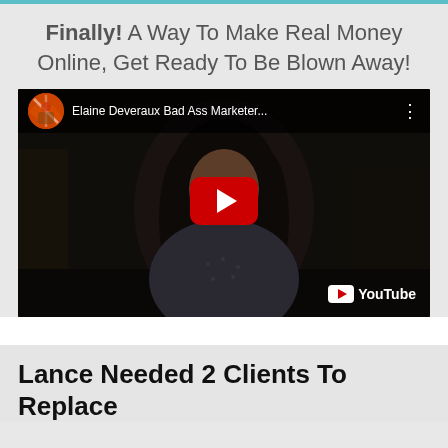Finally! A Way To Make Real Money Online, Get Ready To Be Blown Away!
[Figure (screenshot): YouTube video embed showing a woman with dark hair and glasses in a dark room. The video is from the channel 'Elaine Deveraux Bad Ass Marketer...' with a red play button in the center and the YouTube logo in the bottom right.]
Lance Needed 2 Clients To Replace